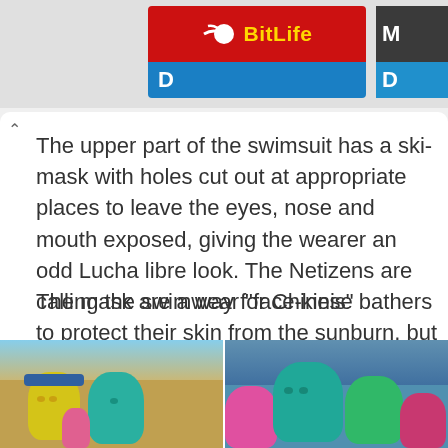[Figure (screenshot): BitLife advertisement banner at top of page, red background with yellow logo text and blue bottom bar. Partial second ad visible on right.]
The upper part of the swimsuit has a ski-mask with holes cut out at appropriate places to leave the eyes, nose and mouth exposed, giving the wearer an odd Lucha libre look. The Netizens are calling the swimwear "face-kinis"
The mask are a way for Chinese bathers to protect their skin from the sunburn, but it turns out that they are equally handy at repelling insects and jellyfish.
[Figure (photo): Two side-by-side photos of people wearing colorful face-kini swimwear masks at the beach. Left photo shows yellow and teal masked bathers on a sandy beach. Right photo shows pink, teal, and green masked bathers in water.]